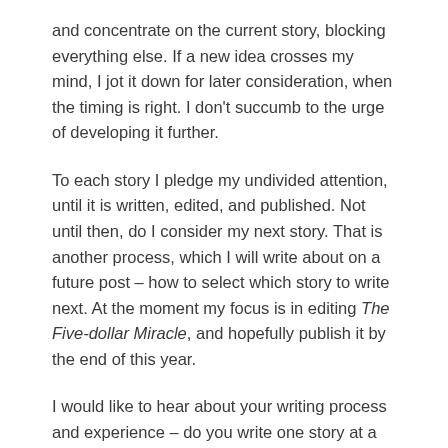and concentrate on the current story, blocking everything else. If a new idea crosses my mind, I jot it down for later consideration, when the timing is right. I don't succumb to the urge of developing it further.
To each story I pledge my undivided attention, until it is written, edited, and published. Not until then, do I consider my next story. That is another process, which I will write about on a future post – how to select which story to write next. At the moment my focus is in editing The Five-dollar Miracle, and hopefully publish it by the end of this year.
I would like to hear about your writing process and experience – do you write one story at a time or do you split your effort into several?